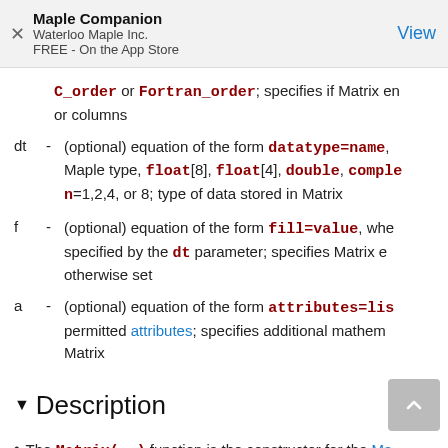Maple Companion
Waterloo Maple Inc.
FREE - On the App Store
C_order or Fortran_order; specifies if Matrix entries are stored by rows or columns
dt - (optional) equation of the form datatype=name, where name is a Maple type, float[8], float[4], double, complex[n]=1,2,4, or 8; type of data stored in Matrix
f - (optional) equation of the form fill=value, where value is specified by the dt parameter; specifies Matrix entries not otherwise set
a - (optional) equation of the form attributes=list, where list is a list of permitted attributes; specifies additional mathematical properties of the Matrix
Description
The Matrix(..) function is the constructor for the Ma...